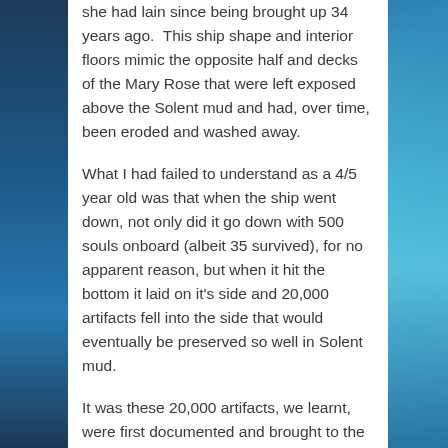she had lain since being brought up 34 years ago. This ship shape and interior floors mimic the opposite half and decks of the Mary Rose that were left exposed above the Solent mud and had, over time, been eroded and washed away.
What I had failed to understand as a 4/5 year old was that when the ship went down, not only did it go down with 500 souls onboard (albeit 35 survived), for no apparent reason, but when it hit the bottom it laid on it's side and 20,000 artifacts fell into the side that would eventually be preserved so well in Solent mud.
It was these 20,000 artifacts, we learnt, were first documented and brought to the surface by an army of volunteer divers, many of whom were BSAC divers who worked their paid jobs during the week and gave up their weekends to come down and help clear the mud and